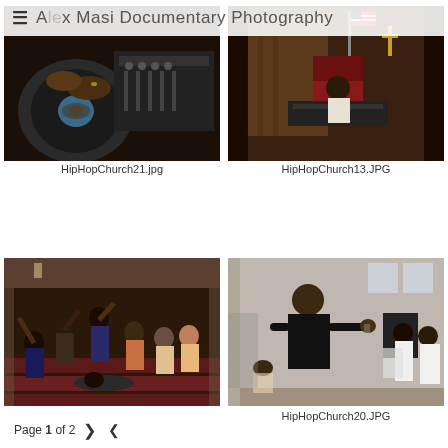☰ Alex Masi Documentary Photography
[Figure (photo): Close-up of DJ hands on turntable/mixer equipment]
HipHopChurch21.jpg
[Figure (photo): Person sitting at DJ equipment inside a church with American flag and red chairs]
HipHopChurch13.JPG
[Figure (photo): Crowd of people in a church interior with raised hands and people dancing]
[Figure (photo): Man in black shirt performing/rapping in a church setting, another person holding paper]
HipHopChurch20.JPG
Page 1 of 2 > <